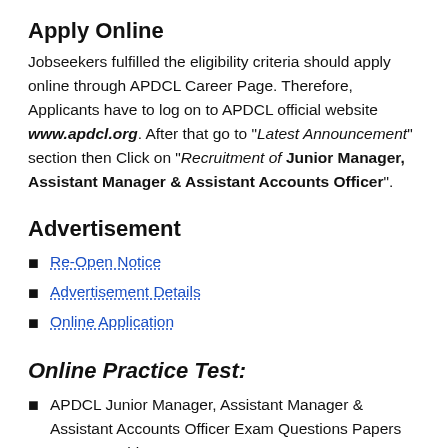Apply Online
Jobseekers fulfilled the eligibility criteria should apply online through APDCL Career Page. Therefore, Applicants have to log on to APDCL official website www.apdcl.org. After that go to “Latest Announcement” section then Click on “Recruitment of Junior Manager, Assistant Manager & Assistant Accounts Officer”.
Advertisement
Re-Open Notice
Advertisement Details
Online Application
Online Practice Test:
APDCL Junior Manager, Assistant Manager & Assistant Accounts Officer Exam Questions Papers Answers. This